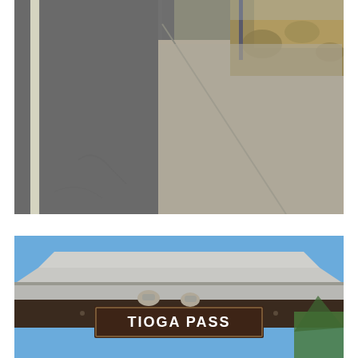[Figure (photo): A road shoulder and lane with chip-seal or gravel surface texture. A white edge line is visible on the left side of the road, and dry scrubland vegetation with a metal signpost is visible on the right roadside. Cracks are visible in the pavement.]
[Figure (photo): Close-up of the roof and sign of a toll booth or entrance station at Tioga Pass. The sign reads 'TIOGA PASS' in white lettering on a dark brown background. The canopy is grey/white with spotlights mounted underneath. Blue sky and tree tops are visible in the background.]